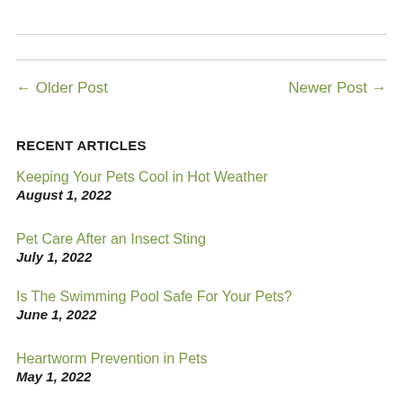← Older Post
Newer Post →
RECENT ARTICLES
Keeping Your Pets Cool in Hot Weather
August 1, 2022
Pet Care After an Insect Sting
July 1, 2022
Is The Swimming Pool Safe For Your Pets?
June 1, 2022
Heartworm Prevention in Pets
May 1, 2022